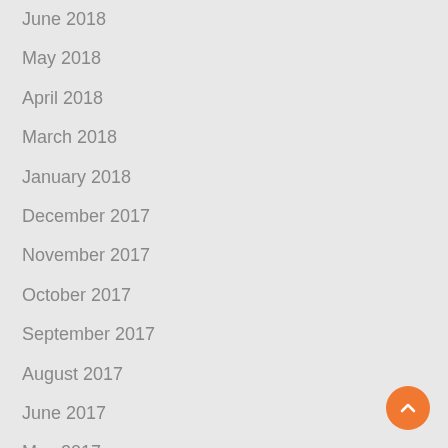June 2018
May 2018
April 2018
March 2018
January 2018
December 2017
November 2017
October 2017
September 2017
August 2017
June 2017
May 2017
April 2017
March 2017
January 2017